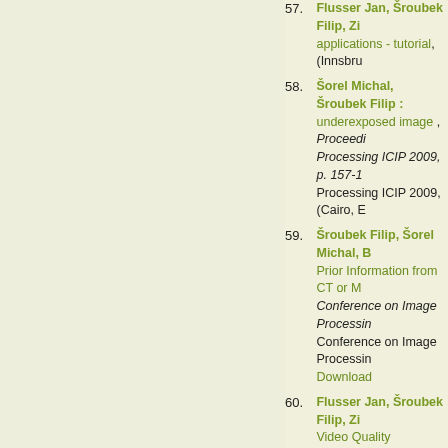57. Flusser Jan, Šroubek Filip, Zi... applications - tutorial, (Innsbru...
58. Šorel Michal, Šroubek Filip : ... underexposed image , Proceedings... Processing ICIP 2009, p. 157-1... Processing ICIP 2009, (Cairo, E...
59. Šroubek Filip, Šorel Michal, B... Prior Information from CT or M... Conference on Image Processing... Conference on Image Processing... Download
60. Flusser Jan, Šroubek Filip, Zi... Video Quality Enhancement, (K...
61. Šroubek Filip, Flusser Jan, Šo... video , Proceedings on the 19th... 19th International Conference o... 11.12.2008) [2008] Download
62. Goshtasby A., Flusser Jan, Šr... Recent Advances in Image Regi... Society Conference on Compute... Vision and Pattern Recognition,...
63. Cristobal G., Gil E., Šroubek F... Superresolution imaging t...